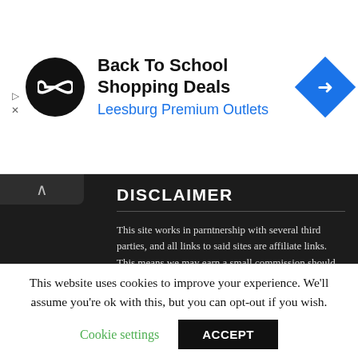[Figure (logo): Advertisement banner with circular black logo with infinity/loop symbol, title 'Back To School Shopping Deals', subtitle 'Leesburg Premium Outlets', and blue diamond navigation icon on right]
DISCLAIMER
This site works in parntnership with several third parties, and all links to said sites are affiliate links. This means we may earn a small commission should you purchase an item after clicking on one of these links.
We have no control over the sites we link to, and cannot be held responisble for any issues you may have with purchases at those sites after following a link from this site.
Full site Ts & Cs / Privacy Policy
This website uses cookies to improve your experience. We'll assume you're ok with this, but you can opt-out if you wish.
Cookie settings
ACCEPT